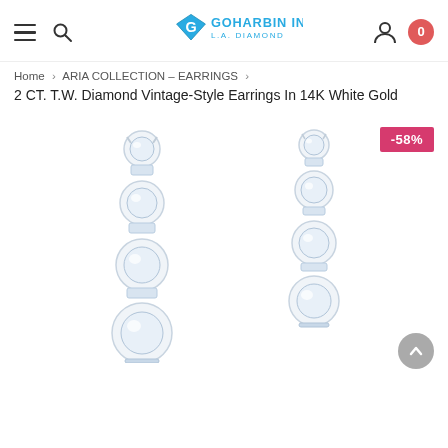Goharbin Inc L.A. Diamond — navigation header with hamburger menu, search, logo, user icon, cart (0)
Home > ARIA COLLECTION – EARRINGS >
2 CT. T.W. Diamond Vintage-Style Earrings In 14K White Gold
[Figure (photo): Product photo showing two diamond vintage-style drop earrings in 14K white gold, each with four graduating round diamonds set in white gold mounts, on white background. A -58% discount badge is shown in the top right corner.]